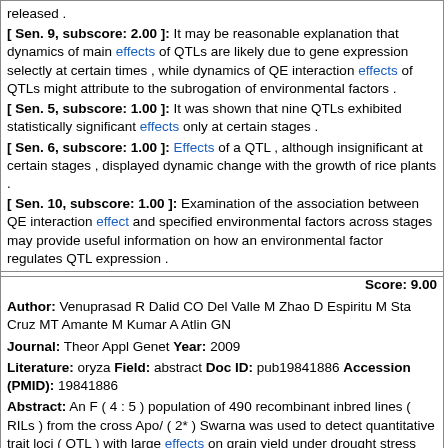released .
[ Sen. 9, subscore: 2.00 ]: It may be reasonable explanation that dynamics of main effects of QTLs are likely due to gene expression selectly at certain times , while dynamics of QE interaction effects of QTLs might attribute to the subrogation of environmental factors .
[ Sen. 5, subscore: 1.00 ]: It was shown that nine QTLs exhibited statistically significant effects only at certain stages .
[ Sen. 6, subscore: 1.00 ]: Effects of a QTL , although insignificant at certain stages , displayed dynamic change with the growth of rice plants .
[ Sen. 10, subscore: 1.00 ]: Examination of the association between QE interaction effect and specified environmental factors across stages may provide useful information on how an environmental factor regulates QTL expression .
Score: 9.00
Author: Venuprasad R Dalid CO Del Valle M Zhao D Espiritu M Sta Cruz MT Amante M Kumar A Atlin GN
Journal: Theor Appl Genet Year: 2009
Literature: oryza Field: abstract Doc ID: pub19841886 Accession (PMID): 19841886
Abstract: An F ( 4 : 5 ) population of 490 recombinant inbred lines ( RILs ) from the cross Apo/ ( 2* ) Swarna was used to detect quantitative trait loci ( QTL ) with large effects on grain yield under drought stress using bulk-segregant analysis ( BSA ) . Swarna is an important rainfed lowland rice variety grown on millions of hectares in Asia , but is highly susceptible to drought and aerobic soil conditions . Apo is an aerobic-adapted variety with moderate tolerance to drought . Two rice